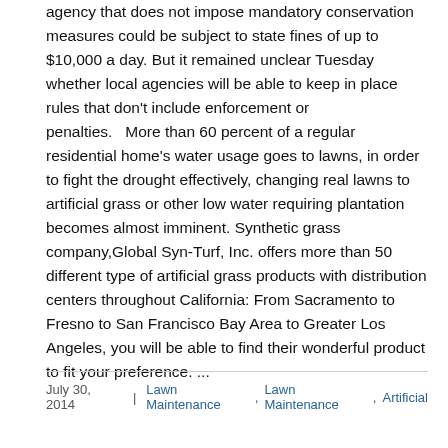agency that does not impose mandatory conservation measures could be subject to state fines of up to $10,000 a day. But it remained unclear Tuesday whether local agencies will be able to keep in place rules that don't include enforcement or penalties.   More than 60 percent of a regular residential home's water usage goes to lawns, in order to fight the drought effectively, changing real lawns to artificial grass or other low water requiring plantation becomes almost imminent. Synthetic grass company,Global Syn-Turf, Inc. offers more than 50 different type of artificial grass products with distribution centers throughout California: From Sacramento to Fresno to San Francisco Bay Area to Greater Los Angeles, you will be able to find their wonderful product to fit your preference. ...
July 30, 2014  |  Lawn Maintenance,  Lawn Maintenance,  Artificial